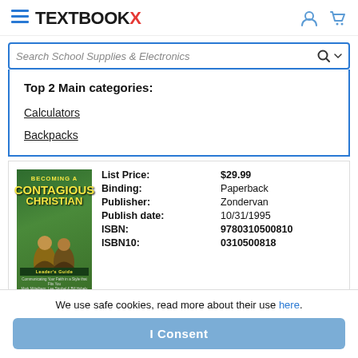TEXTBOOKX
Search School Supplies & Electronics
Top 2 Main categories:
Calculators
Backpacks
| Field | Value |
| --- | --- |
| List Price: | $29.99 |
| Binding: | Paperback |
| Publisher: | Zondervan |
| Publish date: | 10/31/1995 |
| ISBN: | 9780310500810 |
| ISBN10: | 0310500818 |
SELL YOUR BOOK
We use safe cookies, read more about their use here.
I Consent